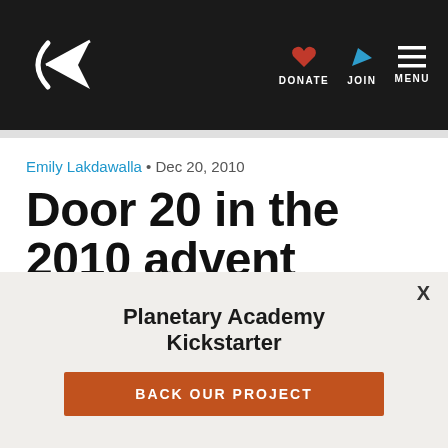The Planetary Society — DONATE | JOIN | MENU
Emily Lakdawalla • Dec 20, 2010
Door 20 in the 2010 advent calendar
Planetary Academy Kickstarter
BACK OUR PROJECT